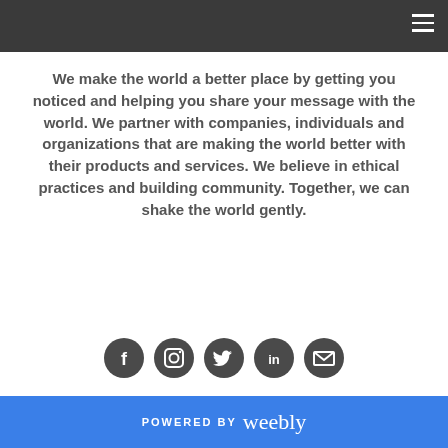We make the world a better place by getting you noticed and helping you share your message with the world. We partner with companies, individuals and organizations that are making the world better with their products and services. We believe in ethical practices and building community. Together, we can shake the world gently.
[Figure (infographic): Five circular social media icons in dark gray: Facebook (f), Instagram (camera), Twitter (bird), LinkedIn (in), Email (envelope)]
POWERED BY weebly